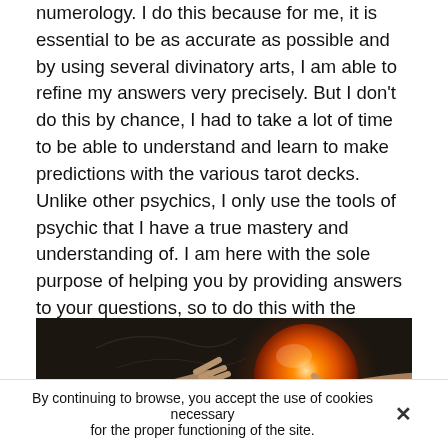numerology. I do this because for me, it is essential to be as accurate as possible and by using several divinatory arts, I am able to refine my answers very precisely. But I don't do this by chance, I had to take a lot of time to be able to understand and learn to make predictions with the various tarot decks. Unlike other psychics, I only use the tools of psychic that I have a true mastery and understanding of. I am here with the sole purpose of helping you by providing answers to your questions, so to do this with the utmost accuracy, I must be able to read what the cards tell me or others. Do not hesitate any longer if you need an accurate and reliable consultation with a numerologist in Seneca.
[Figure (photo): Dark atmospheric photo of hands reaching toward a glowing orange crystal ball or orb against a dark background]
By continuing to browse, you accept the use of cookies necessary for the proper functioning of the site.